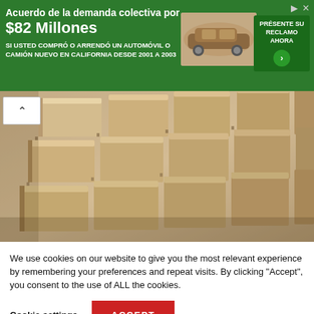[Figure (other): Green advertisement banner for a class action lawsuit settlement of $82 Million for people who bought or leased a new car or truck in California from 2001 to 2003. Text in Spanish. Includes a car image and a call to action button 'PRESENTE SU RECLAMO AHORA'.]
[Figure (photo): Close-up photograph of wooden shelves or wooden structural elements arranged in a repeating pattern, viewed in perspective. Warm beige/tan tones.]
We use cookies on our website to give you the most relevant experience by remembering your preferences and repeat visits. By clicking “Accept”, you consent to the use of ALL the cookies.
Cookie settings
ACCEPT